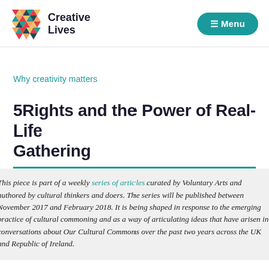Creative Lives — Menu
Why creativity matters
5Rights and the Power of Real-Life Gathering
This piece is part of a weekly series of articles curated by Voluntary Arts and authored by cultural thinkers and doers. The series will be published between November 2017 and February 2018. It is being shaped in response to the emerging practice of cultural commoning and as a way of articulating ideas that have arisen in conversations about Our Cultural Commons over the past two years across the UK and Republic of Ireland.